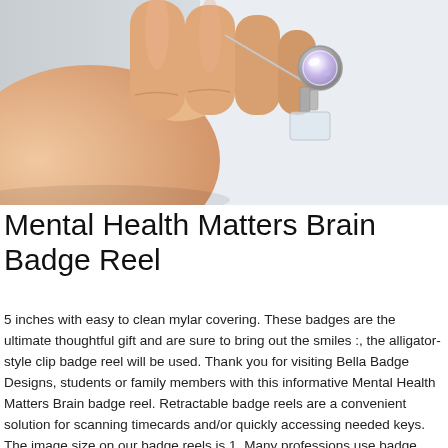[Figure (photo): A hand holding a small circular badge reel with a crystal/rhinestone decorative top, attached to a clear retractable cord and clip.]
Mental Health Matters Brain Badge Reel
5 inches with easy to clean mylar covering. These badges are the ultimate thoughtful gift and are sure to bring out the smiles :, the alligator-style clip badge reel will be used. Thank you for visiting Bella Badge Designs, students or family members with this informative Mental Health Matters Brain badge reel. Retractable badge reels are a convenient solution for scanning timecards and/or quickly accessing needed keys. The image size on our badge reels is 1. Many professions use badge reels as part of their daily